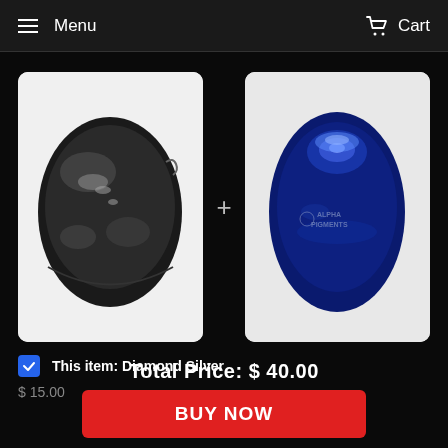Menu   Cart
[Figure (photo): Two metallic car body panel samples shown side by side with a plus sign between them. Left panel is dark silver/black sparkle metallic. Right panel is deep blue metallic with Alpha Pigments watermark logo.]
Total Price:  $ 40.00
BUY NOW
This item: Diamond Silver
$ 15.00